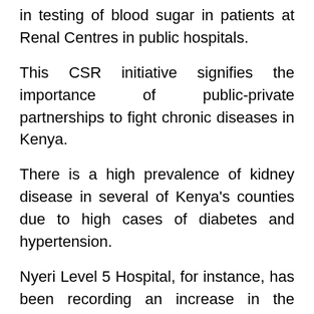in testing of blood sugar in patients at Renal Centres in public hospitals.
This CSR initiative signifies the importance of public-private partnerships to fight chronic diseases in Kenya.
There is a high prevalence of kidney disease in several of Kenya's counties due to high cases of diabetes and hypertension.
Nyeri Level 5 Hospital, for instance, has been recording an increase in the number of patients in need of dialysis services with cases of diabetes also on the rise, occasioning the need for additional renal dialysis equipment, and blood sugar testing kits.S
Under the government's MES programme, the Nyeri Level 5 hospital already has five renal dialysis machines.
The installation of the new equipment, which include